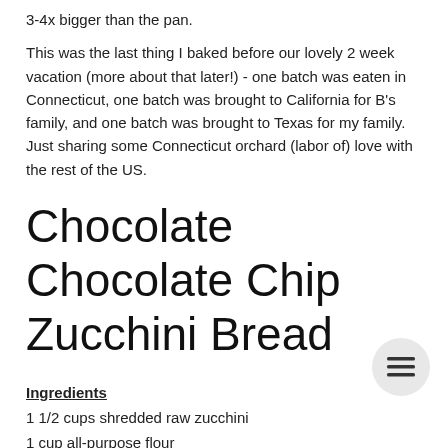3-4x bigger than the pan.
This was the last thing I baked before our lovely 2 week vacation (more about that later!) - one batch was eaten in Connecticut, one batch was brought to California for B's family, and one batch was brought to Texas for my family. Just sharing some Connecticut orchard (labor of) love with the rest of the US.
Chocolate Chocolate Chip Zucchini Bread
Ingredients
1 1/2 cups shredded raw zucchini
1 cup all-purpose flour
1/2 cup unsweetened natural cocoa powder, sifted
3/4 teaspoon baking soda